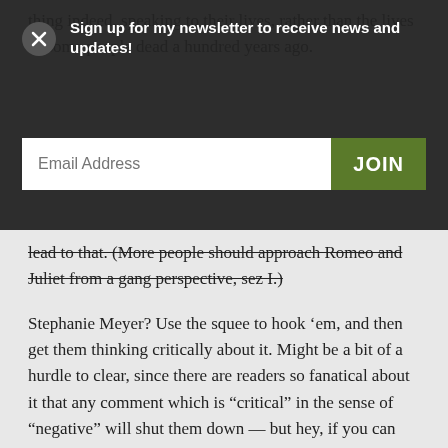thing indeed, speaking to their lives, rather than the lives of some people dead a hundred years ago.
Sign up for my newsletter to receive news and updates!
Email Address
JOIN
lead to that. (More people should approach Romeo and Juliet from a gang perspective, sez I.)
Stephanie Meyer? Use the squee to hook ‘em, and then get them thinking critically about it. Might be a bit of a hurdle to clear, since there are readers so fanatical about it that any comment which is “critical” in the sense of “negative” will shut them down — but hey, if you can channel that passion in the right direction, you’re off and running.
Old-school erotica? I haven’t ever tried to read Lady Chatterly’s Lover, but dude, they are NOT going to be picking up Ulysses. If your point is more “books with sex in general” . . . my junior year, we were